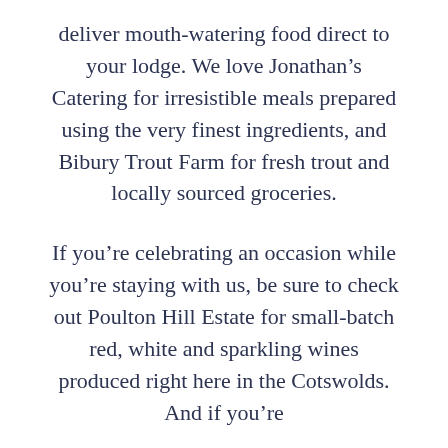deliver mouth-watering food direct to your lodge. We love Jonathan's Catering for irresistible meals prepared using the very finest ingredients, and Bibury Trout Farm for fresh trout and locally sourced groceries.
If you're celebrating an occasion while you're staying with us, be sure to check out Poulton Hill Estate for small-batch red, white and sparkling wines produced right here in the Cotswolds. And if you're